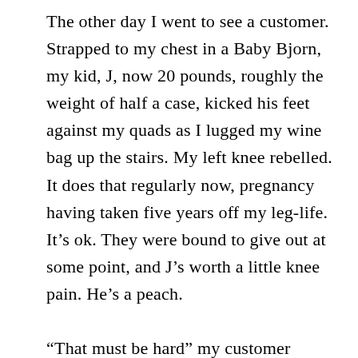The other day I went to see a customer. Strapped to my chest in a Baby Bjorn, my kid, J, now 20 pounds, roughly the weight of half a case, kicked his feet against my quads as I lugged my wine bag up the stairs. My left knee rebelled. It does that regularly now, pregnancy having taken five years off my leg-life. It’s ok. They were bound to give out at some point, and J’s worth a little knee pain. He’s a peach.

“That must be hard” my customer commented as I hoisted the bag up onto a stool